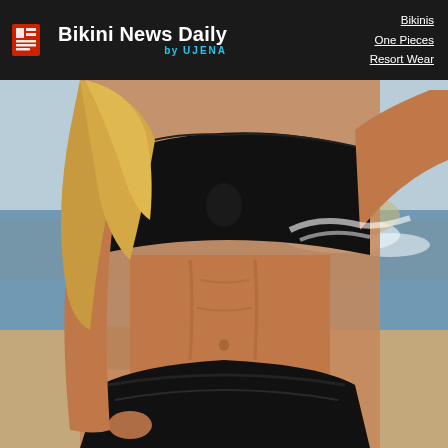Bikini News Daily by UJENA | Bikinis | One Pieces | Resort Wear
[Figure (photo): Woman wearing a black bandeau bikini top and high-waisted black bikini bottom, photographed at a beach with ocean waves and sand dunes in the background. The photo shows from approximately upper chest to upper thigh level.]